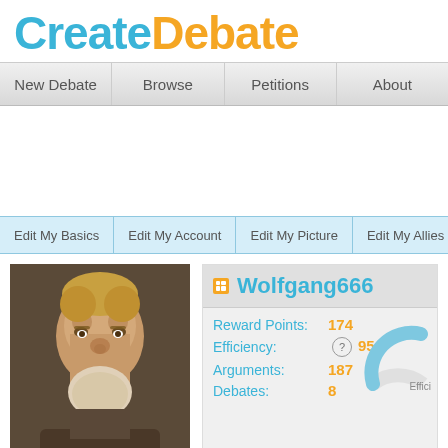[Figure (logo): CreateDebate logo with 'Create' in blue and 'Debate' in orange bold text]
New Debate | Browse | Petitions | About
Edit My Basics | Edit My Account | Edit My Picture | Edit My Allies | Edit M...
[Figure (photo): Portrait of an elderly bearded man (resembles Charles Darwin), oil painting style]
Wolfgang666
| Label | Value |
| --- | --- |
| Reward Points: | 174 |
| Efficiency: | 95% |
| Arguments: | 187 |
| Debates: | 8 |
[Figure (infographic): Partial gauge/speedometer showing efficiency metric in blue]
Effici...
Identify Ally
Declare Enemy